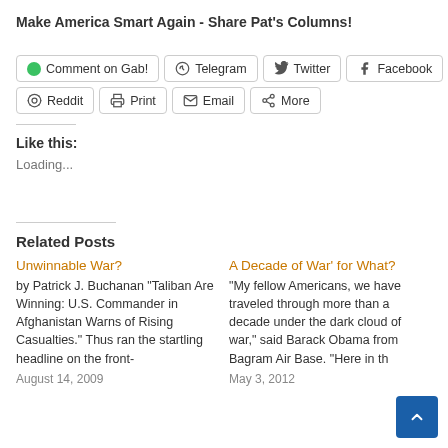Make America Smart Again - Share Pat's Columns!
Comment on Gab!
Telegram
Twitter
Facebook
Reddit
Print
Email
More
Like this:
Loading...
Related Posts
Unwinnable War?
by Patrick J. Buchanan "Taliban Are Winning: U.S. Commander in Afghanistan Warns of Rising Casualties." Thus ran the startling headline on the front-
August 14, 2009
A Decade of War’ for What?
"My fellow Americans, we have traveled through more than a decade under the dark cloud of war," said Barack Obama from Bagram Air Base. "Here in th
May 3, 2012